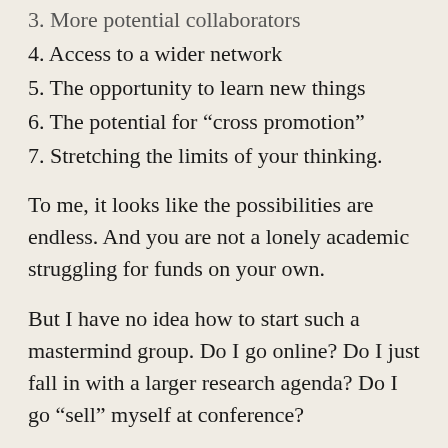3. More potential collaborators
4. Access to a wider network
5. The opportunity to learn new things
6. The potential for “cross promotion”
7. Stretching the limits of your thinking.
To me, it looks like the possibilities are endless. And you are not a lonely academic struggling for funds on your own.
But I have no idea how to start such a mastermind group. Do I go online? Do I just fall in with a larger research agenda? Do I go “sell” myself at conference?